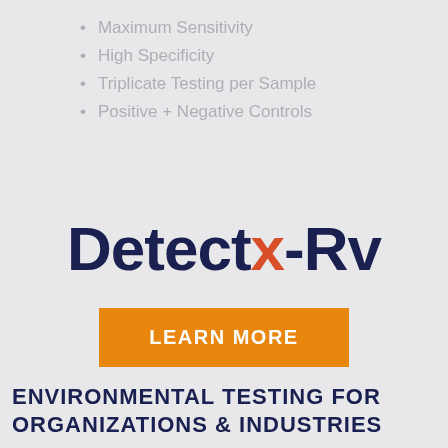Maximum Sensitivity
High Specificity
Triplicate Testing per Sample
Positive + Negative Controls
[Figure (logo): DetectX-Rv logo in dark navy with orange-red X]
LEARN MORE
ENVIRONMENTAL TESTING FOR ORGANIZATIONS & INDUSTRIES